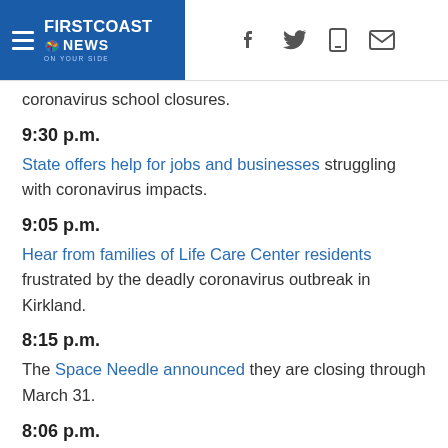First Coast News | Social media icons: Facebook, Twitter, Mobile, Email
coronavirus school closures.
9:30 p.m.
State offers help for jobs and businesses struggling with coronavirus impacts.
9:05 p.m.
Hear from families of Life Care Center residents frustrated by the deadly coronavirus outbreak in Kirkland.
8:15 p.m.
The Space Needle announced they are closing through March 31.
8:06 p.m.
The Washington State Department of Health, alongside partners at Bloodworks Northwest, is encouraging eligible